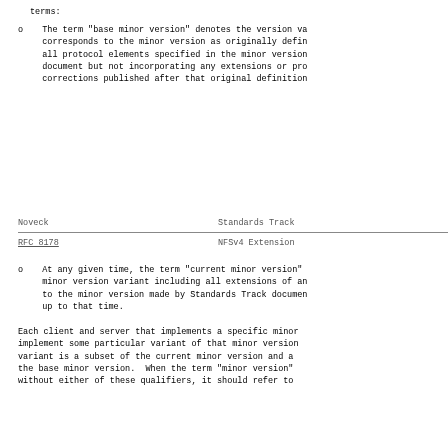terms:
o  The term "base minor version" denotes the version va corresponds to the minor version as originally defin all protocol elements specified in the minor version document but not incorporating any extensions or pro corrections published after that original definition
Noveck                          Standards Track
RFC 8178                        NFSv4 Extension
o  At any given time, the term "current minor version" minor version variant including all extensions of an to the minor version made by Standards Track documen up to that time.
Each client and server that implements a specific minor implement some particular variant of that minor version variant is a subset of the current minor version and a the base minor version.  When the term "minor version" without either of these qualifiers, it should refer to